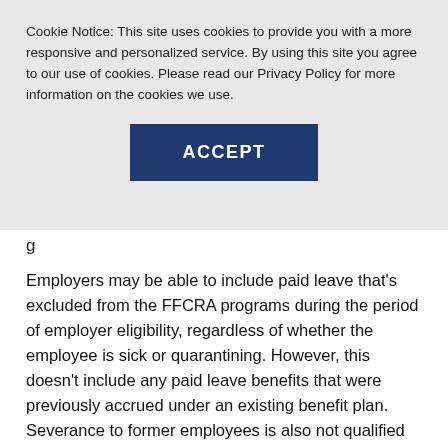Cookie Notice: This site uses cookies to provide you with a more responsive and personalized service. By using this site you agree to our use of cookies. Please read our Privacy Policy for more information on the cookies we use.
ACCEPT
g
Employers may be able to include paid leave that's excluded from the FFCRA programs during the period of employer eligibility, regardless of whether the employee is sick or quarantining. However, this doesn't include any paid leave benefits that were previously accrued under an existing benefit plan. Severance to former employees is also not qualified for ERC.
If a business has operations both inside and outside the United States and a plant outside the United States was shut